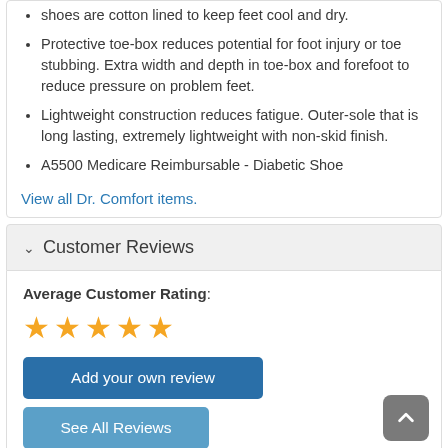shoes are cotton lined to keep feet cool and dry.
Protective toe-box reduces potential for foot injury or toe stubbing. Extra width and depth in toe-box and forefoot to reduce pressure on problem feet.
Lightweight construction reduces fatigue. Outer-sole that is long lasting, extremely lightweight with non-skid finish.
A5500 Medicare Reimbursable - Diabetic Shoe
View all Dr. Comfort items.
Customer Reviews
Average Customer Rating:
[Figure (other): 5 orange star rating icons]
Add your own review
See All Reviews
2 Most useful customer reviews